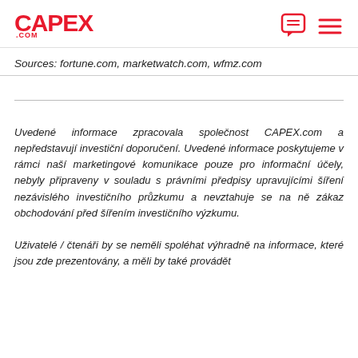CAPEX .COM
Sources: fortune.com, marketwatch.com, wfmz.com
Uvedené informace zpracovala společnost CAPEX.com a nepředstavují investiční doporučení. Uvedené informace poskytujeme v rámci naší marketingové komunikace pouze pro informační účely, nebyly připraveny v souladu s právními předpisy upravujícími šíření nezávislého investičního průzkumu a nevztahuje se na ně zákaz obchodování před šířením investičního výzkumu.
Uživatelé / čtenáři by se neměli spoléhat výhradně na informace, které jsou zde prezentovány, a měli by také provádět